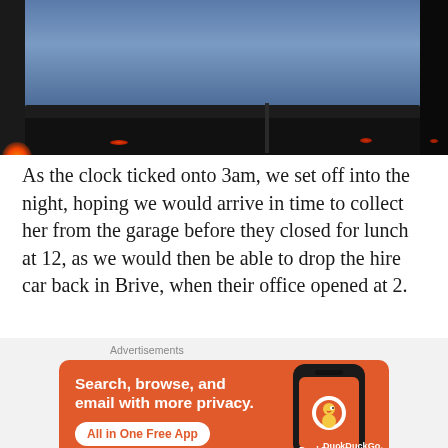[Figure (photo): Dark nighttime photo of a car with red tail lights glowing; a dark blue/grey sky is visible in the upper portion above the car's roofline. An orange glow is visible at lower left.]
As the clock ticked onto 3am, we set off into the night, hoping we would arrive in time to collect her from the garage before they closed for lunch at 12, as we would then be able to drop the hire car back in Brive, when their office opened at 2.
[Figure (screenshot): DuckDuckGo advertisement banner on an orange background. Text reads: 'Search, browse, and email with more privacy. All in One Free App'. Shows a phone mockup with DuckDuckGo logo.]